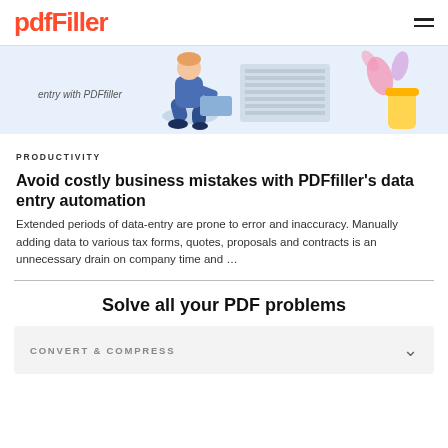pdfFiller
[Figure (illustration): Decorative illustration showing a person sitting and working, with a plant in the background. Partial text reads 'entry with PDFfiller'. Light blue background with illustrated characters.]
PRODUCTIVITY
Avoid costly business mistakes with PDFfiller's data entry automation
Extended periods of data-entry are prone to error and inaccuracy. Manually adding data to various tax forms, quotes, proposals and contracts is an unnecessary drain on company time and …
Solve all your PDF problems
CONVERT & COMPRESS